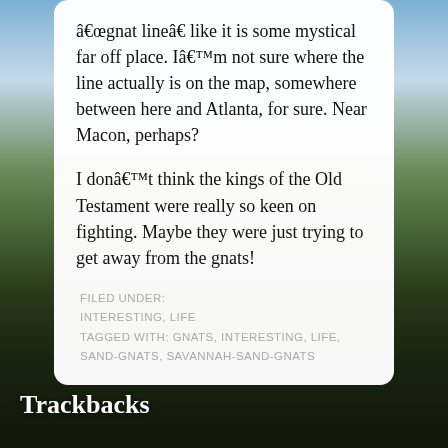“gnat line” like it is some mystical far off place. I’m not sure where the line actually is on the map, somewhere between here and Atlanta, for sure. Near Macon, perhaps?

I don’t think the kings of the Old Testament were really so keen on fighting. Maybe they were just trying to get away from the gnats!
FILED UNDER:
INTERESTING, LIFE
TAGGED WITH: GNATS, INTERESTING, LIFE, SAND-GNATS, SAVANNAH-SAND-GNATS
Trackbacks